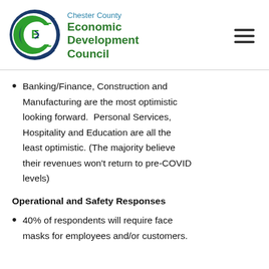[Figure (logo): Chester County Economic Development Council logo with circular C/E emblem in blue and green, alongside organization name text]
Banking/Finance, Construction and Manufacturing are the most optimistic looking forward.  Personal Services, Hospitality and Education are all the least optimistic. (The majority believe their revenues won't return to pre-COVID levels)
Operational and Safety Responses
40% of respondents will require face masks for employees and/or customers.